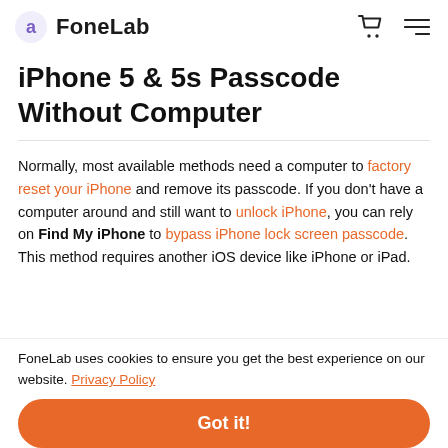FoneLab
iPhone 5 & 5s Passcode Without Computer
Normally, most available methods need a computer to factory reset your iPhone and remove its passcode. If you don't have a computer around and still want to unlock iPhone, you can rely on Find My iPhone to bypass iPhone lock screen passcode. This method requires another iOS device like iPhone or iPad.
FoneLab uses cookies to ensure you get the best experience on our website. Privacy Policy
Got it!